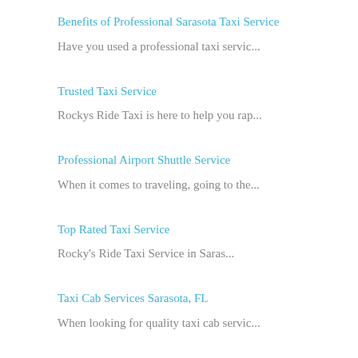Benefits of Professional Sarasota Taxi Service
Have you used a professional taxi servic...
Trusted Taxi Service
Rockys Ride Taxi is here to help you rap...
Professional Airport Shuttle Service
When it comes to traveling, going to the...
Top Rated Taxi Service
Rocky's Ride Taxi Service in Saras...
Taxi Cab Services Sarasota, FL
When looking for quality taxi cab servic...